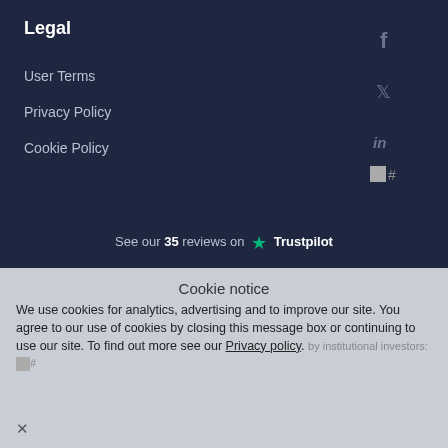Legal
User Terms
Privacy Policy
Cookie Policy
[Figure (other): Social media icons: Facebook, Twitter, LinkedIn, and an image/hash icon on dark background]
See our 35 reviews on Trustpilot
Cookie notice
We use cookies for analytics, advertising and to improve our site. You agree to our use of cookies by closing this message box or continuing to use our site. To find out more see our Privacy policy.